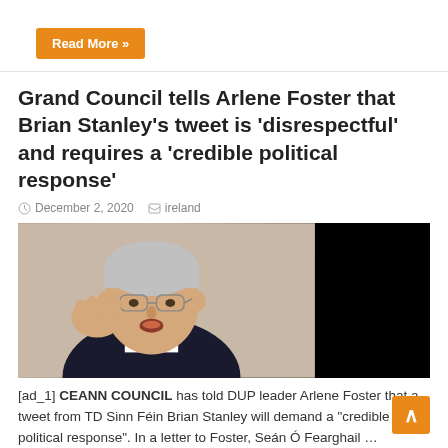Read More »
Grand Council tells Arlene Foster that Brian Stanley's tweet is 'disrespectful' and requires a 'credible political response'
December 2, 2020  ireland
[Figure (photo): Man in glasses and dark suit gesturing with his hand, with a black rectangle on the right side of the image.]
[ad_1] CEANN COUNCIL has told DUP leader Arlene Foster that a tweet from TD Sinn Féin Brian Stanley will demand a "credible political response". In a letter to Foster, Seán Ó Fearghail …